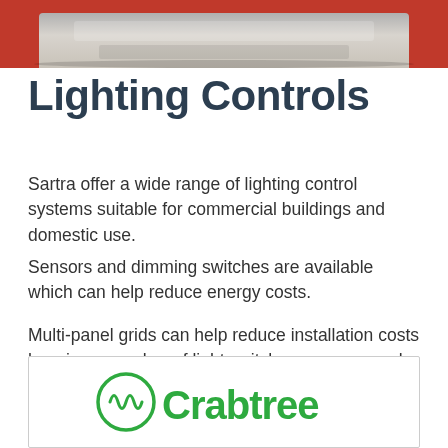[Figure (photo): Photograph of a light switch/electrical panel on a red wall, viewed from below showing bottom edge of device]
Lighting Controls
Sartra offer a wide range of lighting control systems suitable for commercial buildings and domestic use.
Sensors and dimming switches are available which can help reduce energy costs.
Multi-panel grids can help reduce installation costs housing a number of light switches on one panel.
[Figure (logo): Crabtree brand logo in green with waveform symbol]